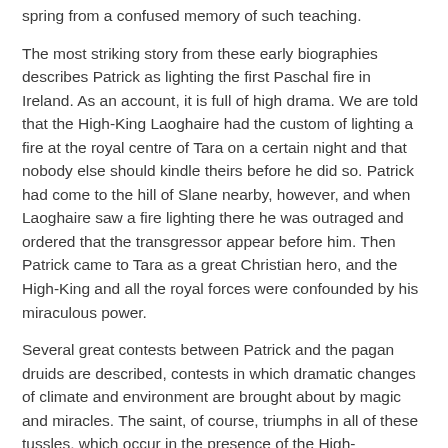spring from a confused memory of such teaching.
The most striking story from these early biographies describes Patrick as lighting the first Paschal fire in Ireland. As an account, it is full of high drama. We are told that the High-King Laoghaire had the custom of lighting a fire at the royal centre of Tara on a certain night and that nobody else should kindle theirs before he did so. Patrick had come to the hill of Slane nearby, however, and when Laoghaire saw a fire lighting there he was outraged and ordered that the transgressor appear before him. Then Patrick came to Tara as a great Christian hero, and the High-King and all the royal forces were confounded by his miraculous power.
Several great contests between Patrick and the pagan druids are described, contests in which dramatic changes of climate and environment are brought about by magic and miracles. The saint, of course, triumphs in all of these tussles, which occur in the presence of the High-